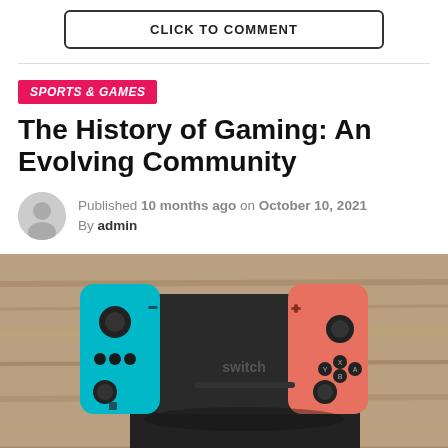CLICK TO COMMENT
SPORTS & GAMES
The History of Gaming: An Evolving Community
Published 10 months ago on October 10, 2021
By admin
[Figure (photo): Nintendo Switch gaming console with neon blue and neon red Joy-Con controllers attached, resting in a dock on a wooden surface]